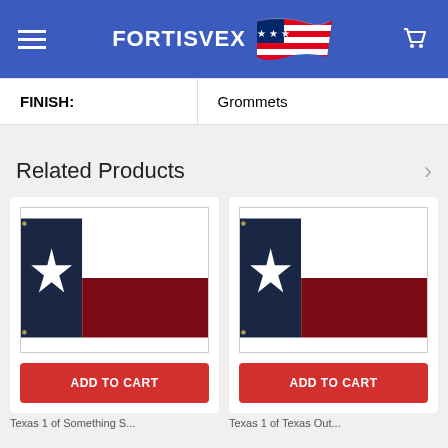FORTISVEX
| FINISH: | Grommets |
| --- | --- |
Related Products
[Figure (illustration): Texas state flag product image - left card]
[Figure (illustration): Texas state flag product image - right card]